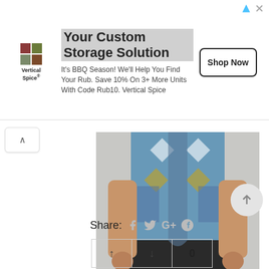[Figure (screenshot): Advertisement banner for Vertical Spice with logo, title 'Your Custom Storage Solution', BBQ season promotional text, and 'Shop Now' button]
[Figure (photo): Cropped photo of a person wearing a colorful patterned button-up shirt (blue, white, gold geometric print) with dark pants, hands in pockets]
https://www.diyanu.com/collections/his-hers/products/dhiso-button-up-shirt-1
Share:
| ↑ | ↓ | 0 |